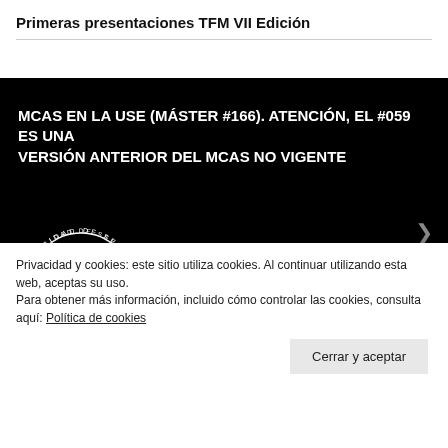Primeras presentaciones TFM VII Edición
[Figure (screenshot): Black background section with white bold heading text about MCAS at Universidad de Sevilla (Máster #166) and the university logo in the bottom left corner]
Privacidad y cookies: este sitio utiliza cookies. Al continuar utilizando esta web, aceptas su uso.
Para obtener más información, incluido cómo controlar las cookies, consulta aquí: Política de cookies
Cerrar y aceptar